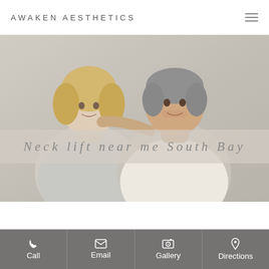AWAKEN AESTHETICS
[Figure (photo): A smiling couple (blonde woman and grey-haired man) posing against a light grey wall, with a semi-transparent text band overlay reading 'Neck lift near me South Bay']
Neck lift near me South Bay
[Figure (photo): Partial close-up image of a person's neck/chin area, partially visible at the bottom of the page]
Call
Email
Gallery
Directions